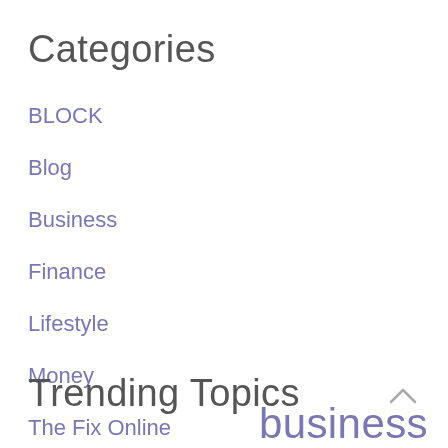Categories
BLOCK
Blog
Business
Finance
Lifestyle
Money
The Fix Online
Travel
Trending Topics
business